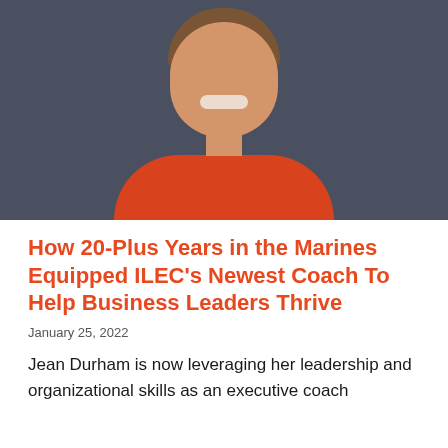[Figure (photo): Professional headshot of a woman with short brown hair, smiling, wearing a red top, against a dark grey background]
How 20-Plus Years in the Marines Equipped ILEC's Newest Coach To Help Business Leaders Thrive
January 25, 2022
Jean Durham is now leveraging her leadership and organizational skills as an executive coach